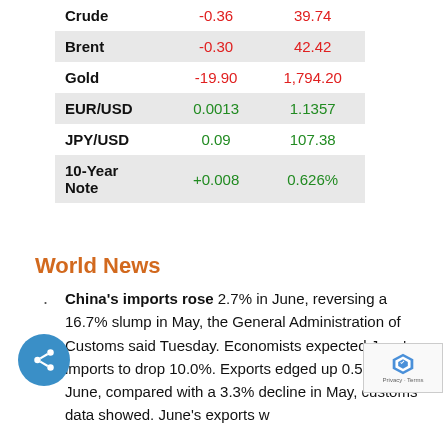| Asset | Change | Value |
| --- | --- | --- |
| Crude | -0.36 | 39.74 |
| Brent | -0.30 | 42.42 |
| Gold | -19.90 | 1,794.20 |
| EUR/USD | 0.0013 | 1.1357 |
| JPY/USD | 0.09 | 107.38 |
| 10-Year Note | +0.008 | 0.626% |
World News
China's imports rose 2.7% in June, reversing a 16.7% slump in May, the General Administration of Customs said Tuesday. Economists expected June's imports to drop 10.0%. Exports edged up 0.5% in June, compared with a 3.3% decline in May, customs data showed. June's exports were better than economists' median forecast of a percent fall.